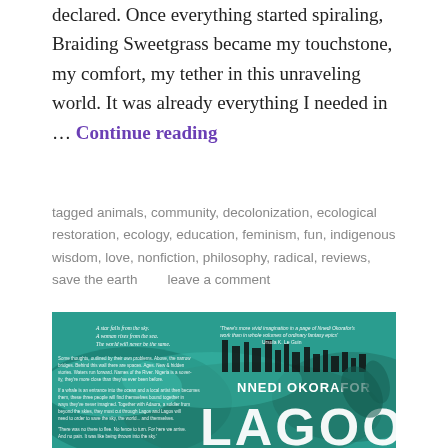declared. Once everything started spiraling, Braiding Sweetgrass became my touchstone, my comfort, my tether in this unraveling world. It was already everything I needed in … Continue reading
tagged animals, community, decolonization, ecological restoration, ecology, education, feminism, fun, indigenous wisdom, love, nonfiction, philosophy, radical, reviews, save the earth       leave a comment
[Figure (illustration): Book cover of 'Lagoon' by Nnedi Okorafor. Teal/green watercolor wash background with a city skyline silhouette. White bold title text 'LAGOON' overlaid large. Author name 'NNEDI OKORAFOR' in white. Pull quotes on front cover. Smaller text on left side panel.]